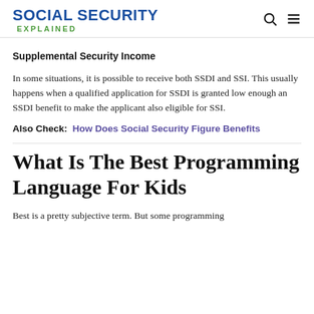SOCIAL SECURITY EXPLAINED
Supplemental Security Income
In some situations, it is possible to receive both SSDI and SSI. This usually happens when a qualified application for SSDI is granted low enough an SSDI benefit to make the applicant also eligible for SSI.
Also Check:  How Does Social Security Figure Benefits
What Is The Best Programming Language For Kids
Best is a pretty subjective term. But some programming